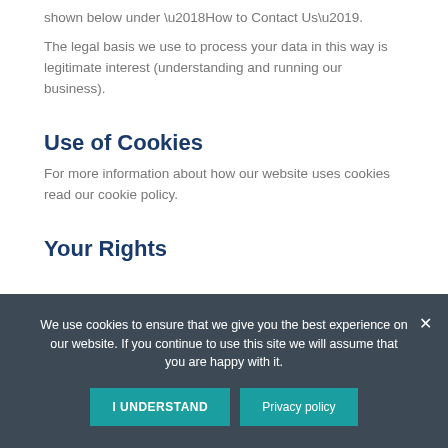shown below under ‘How to Contact Us’.
The legal basis we use to process your data in this way is legitimate interest (understanding and running our business).
Use of Cookies
For more information about how our website uses cookies read our cookie policy.
Your Rights
We use cookies to ensure that we give you the best experience on our website. If you continue to use this site we will assume that you are happy with it.